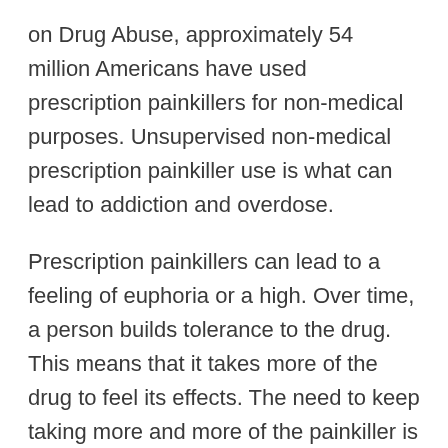on Drug Abuse, approximately 54 million Americans have used prescription painkillers for non-medical purposes. Unsupervised non-medical prescription painkiller use is what can lead to addiction and overdose.
Prescription painkillers can lead to a feeling of euphoria or a high. Over time, a person builds tolerance to the drug. This means that it takes more of the drug to feel its effects. The need to keep taking more and more of the painkiller is what can lead a person to an overdose.